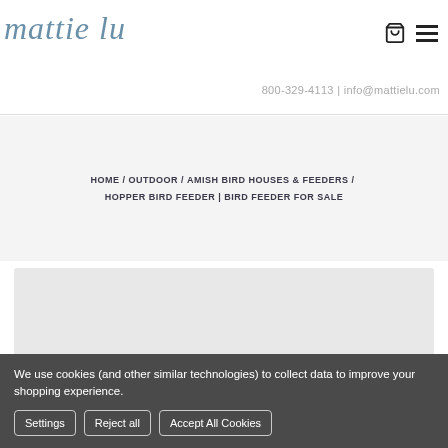mattie lu | 800-329-4113 | info@mattielu.com
HOME / OUTDOOR / AMISH BIRD HOUSES & FEEDERS / HOPPER BIRD FEEDER | BIRD FEEDER FOR SALE
[Figure (other): Empty gray content placeholder card]
We use cookies (and other similar technologies) to collect data to improve your shopping experience.
Settings | Reject all | Accept All Cookies